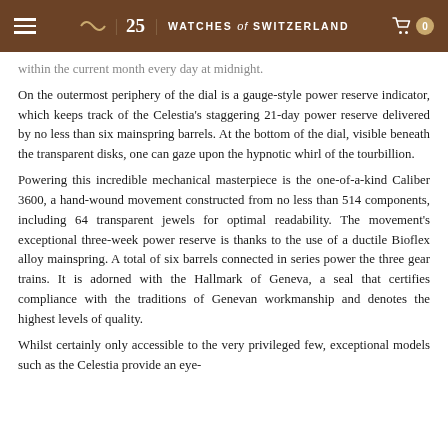Watches of Switzerland
within the current month every day at midnight. On the outermost periphery of the dial is a gauge-style power reserve indicator, which keeps track of the Celestia's staggering 21-day power reserve delivered by no less than six mainspring barrels. At the bottom of the dial, visible beneath the transparent disks, one can gaze upon the hypnotic whirl of the tourbillion.
Powering this incredible mechanical masterpiece is the one-of-a-kind Caliber 3600, a hand-wound movement constructed from no less than 514 components, including 64 transparent jewels for optimal readability. The movement's exceptional three-week power reserve is thanks to the use of a ductile Bioflex alloy mainspring. A total of six barrels connected in series power the three gear trains. It is adorned with the Hallmark of Geneva, a seal that certifies compliance with the traditions of Genevan workmanship and denotes the highest levels of quality.
Whilst certainly only accessible to the very privileged few, exceptional models such as the Celestia provide an eye-